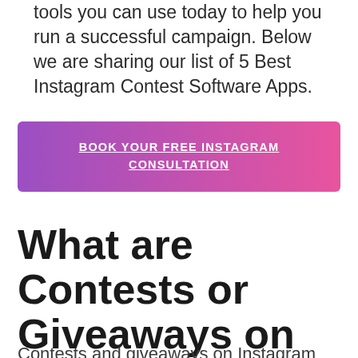tools you can use today to help you run a successful campaign. Below we are sharing our list of 5 Best Instagram Contest Software Apps.
[Figure (other): Gradient banner button with text: BOOK YOUR FREE INSTAGRAM CONSULTATION]
What are Contests or Giveaways on Instagram?
Contests and giveaways on Instagram are